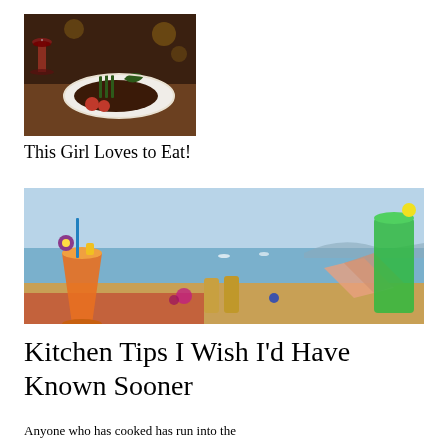[Figure (photo): Photo of a gourmet steak dish with tomatoes, asparagus, and a glass of red wine on a restaurant table]
This Girl Loves to Eat!
[Figure (photo): Wide photo of a tropical outdoor dining table with colorful cocktails, appetizers, spring rolls, and a view of the ocean with boats]
Kitchen Tips I Wish I'd Have Known Sooner
Anyone who has cooked has run into the